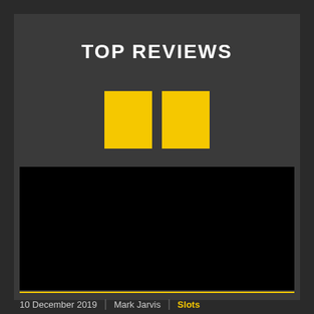TOP REVIEWS
[Figure (illustration): Two yellow quotation mark rectangles (decorative double-quote symbol) on dark gray background]
[Figure (photo): Large black rectangular image area (photograph placeholder)]
10 December 2019 | Mark Jarvis | Slots
The Sword and the Grail – Slot Review